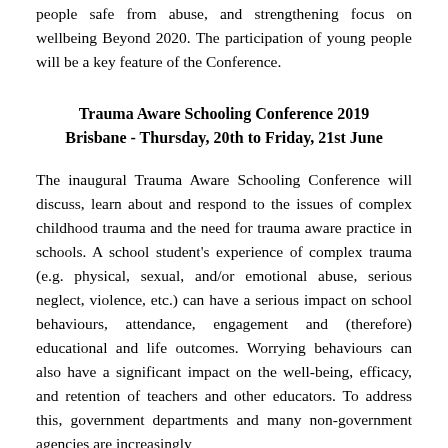people safe from abuse, and strengthening focus on wellbeing Beyond 2020. The participation of young people will be a key feature of the Conference.
Trauma Aware Schooling Conference 2019 Brisbane - Thursday, 20th to Friday, 21st June
The inaugural Trauma Aware Schooling Conference will discuss, learn about and respond to the issues of complex childhood trauma and the need for trauma aware practice in schools. A school student's experience of complex trauma (e.g. physical, sexual, and/or emotional abuse, serious neglect, violence, etc.) can have a serious impact on school behaviours, attendance, engagement and (therefore) educational and life outcomes. Worrying behaviours can also have a significant impact on the well-being, efficacy, and retention of teachers and other educators. To address this, government departments and many non-government agencies are increasingly